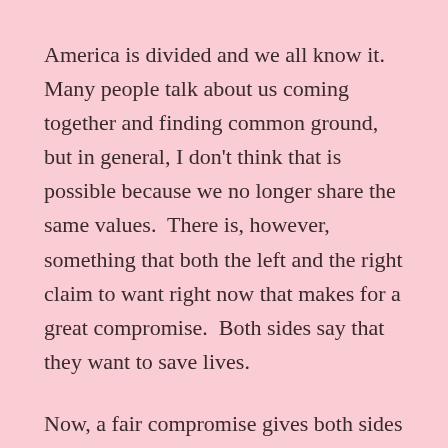America is divided and we all know it.  Many people talk about us coming together and finding common ground, but in general, I don't think that is possible because we no longer share the same values.  There is, however, something that both the left and the right claim to want right now that makes for a great compromise.  Both sides say that they want to save lives.
Now, a fair compromise gives both sides something that they want.  We should all agree that saving lives is a worthy cause, even if we do not agree on how to do it.  If both sides are sincere about their desire to save lives, they will agree that this is a compromise worth agreeing to.  If not, then we can all agree that saving lives is and...